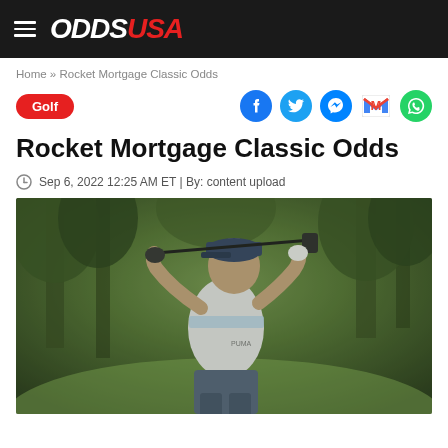ODDS USA
Home » Rocket Mortgage Classic Odds
Golf
Rocket Mortgage Classic Odds
Sep 6, 2022 12:25 AM ET | By: content upload
[Figure (photo): Golfer (Bryson DeChambeau) mid-swing with driver, wearing white Puma polo with light blue stripe and navy cap, outdoor course setting with blurred green/tree background]